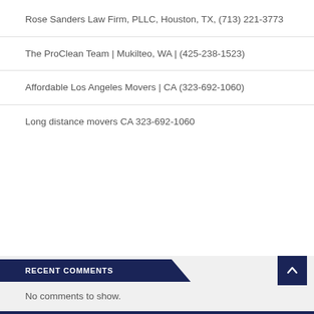Rose Sanders Law Firm, PLLC, Houston, TX, (713) 221-3773
The ProClean Team | Mukilteo, WA | (425-238-1523)
Affordable Los Angeles Movers | CA (323-692-1060)
Long distance movers CA 323-692-1060
RECENT COMMENTS
No comments to show.